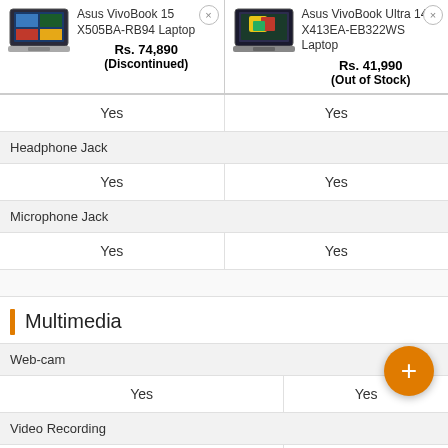| Asus VivoBook 15 X505BA-RB94 Laptop | Asus VivoBook Ultra 14 X413EA-EB322WS Laptop |
| --- | --- |
| Rs. 74,890 (Discontinued) | Rs. 41,990 (Out of Stock) |
| Yes | Yes |
| Headphone Jack |  |
| Yes | Yes |
| Microphone Jack |  |
| Yes | Yes |
Multimedia
|  |  |
| --- | --- |
| Web-cam |  |
| Yes | Yes |
| Video Recording |  |
| HD 720p | 720 |